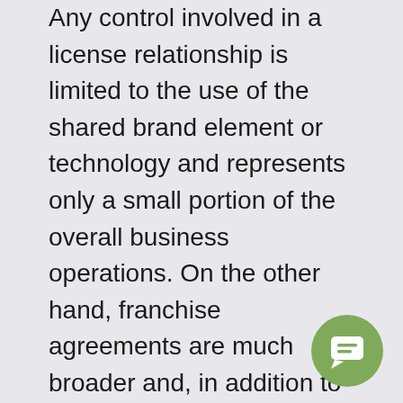Any control involved in a license relationship is limited to the use of the shared brand element or technology and represents only a small portion of the overall business operations. On the other hand, franchise agreements are much broader and, in addition to a businesses shared use of a brand, technology, and systems, regulates and controls the entire branding and operations of the underlying business.
Every franchise agreement includes a license but not every license agreement creates a franchise. What qualifies as a franchise is determined by the Federal Franchise Rule issued by the Federal Trade Commission.
[Figure (illustration): A circular green chat/message button icon in the bottom-right corner of the page.]